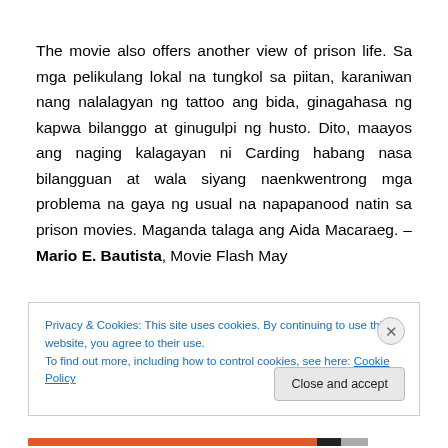The movie also offers another view of prison life. Sa mga pelikulang lokal na tungkol sa piitan, karaniwan nang nalalagyan ng tattoo ang bida, ginagahasa ng kapwa bilanggo at ginugulpi ng husto. Dito, maayos ang naging kalagayan ni Carding habang nasa bilangguan at wala siyang naenkwentrong mga problema na gaya ng usual na napapanood natin sa prison movies. Maganda talaga ang Aida Macaraeg. – Mario E. Bautista, Movie Flash May
Privacy & Cookies: This site uses cookies. By continuing to use this website, you agree to their use. To find out more, including how to control cookies, see here: Cookie Policy